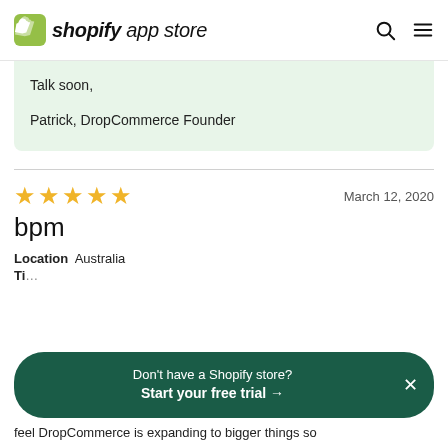shopify app store
Talk soon,

Patrick, DropCommerce Founder
bpm
Location  Australia
Ti...
Don't have a Shopify store? Start your free trial →
feel DropCommerce is expanding to bigger things so